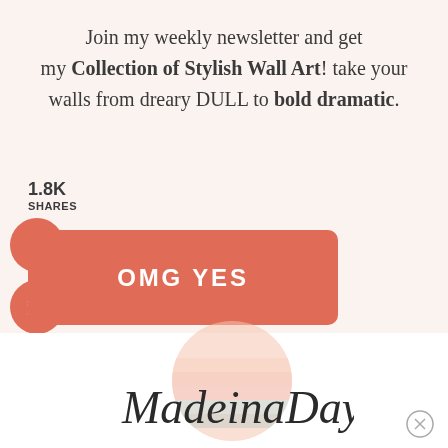Join my weekly newsletter and get my Collection of Stylish Wall Art! take your walls from dreary DULL to bold dramatic.
1.8K SHARES
[Figure (screenshot): Orange-red rounded rectangle button with white bold text OMG YES, social share buttons (Facebook, Twitter, Pinterest, Email) as orange-red circles on the left side]
[Figure (logo): Made in a Day cursive logo with a pastel striped circle in background colors of peach, pink, and mint]